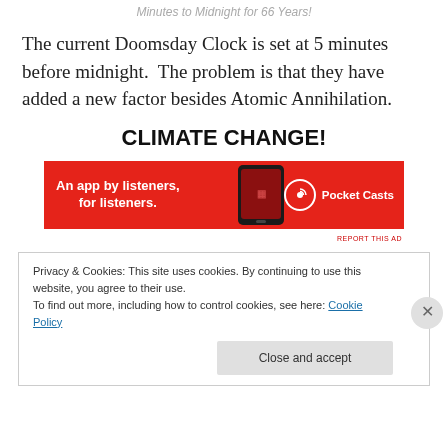Minutes to Midnight for 66 Years!
The current Doomsday Clock is set at 5 minutes before midnight.  The problem is that they have added a new factor besides Atomic Annihilation.
CLIMATE CHANGE!
[Figure (advertisement): Pocket Casts app advertisement banner - red background with phone image and text 'An app by listeners, for listeners.']
Privacy & Cookies: This site uses cookies. By continuing to use this website, you agree to their use.
To find out more, including how to control cookies, see here: Cookie Policy